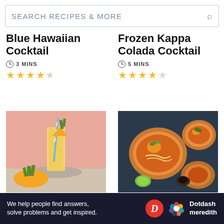SEARCH RECIPES & MORE
Blue Hawaiian Cocktail
3 MINS
★★★★½
Frozen Kappa Colada Cocktail
5 MINS
★★★★☆
[Figure (photo): Painkiller cocktail - a tall yellow drink with pineapple garnish and blue straw on pink background]
RUM COCKTAILS
Painkiller Cocktail
3 MINS
[Figure (photo): Laksa Noodle Soup - overhead view of bowls of orange curry noodle soup on dark blue background]
SOUTHEAST ASIAN MAI...
Laksa Noodle Soup
41 MINS
Ad
We help people find answers, solve problems and get inspired.